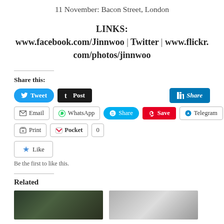11 November: Bacon Street, London
LINKS:
www.facebook.com/Jinnwoo | Twitter | www.flickr.com/photos/jinnwoo
Share this:
[Figure (screenshot): Social share buttons: Tweet, Post, Share (LinkedIn), Email, WhatsApp, Share (Skype), Save (Pinterest), Telegram, Print, Pocket (0)]
[Figure (screenshot): Like button with star icon, caption: Be the first to like this.]
Related
[Figure (photo): Two related article thumbnail images side by side]